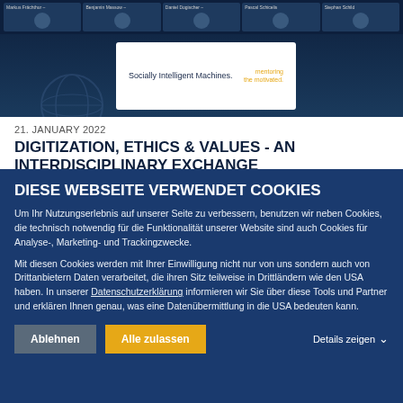[Figure (screenshot): Screenshot of a video conference with participant thumbnails at the top and a presentation slide showing 'Socially Intelligent Machines.' text below]
21. JANUARY 2022
DIGITIZATION, ETHICS & VALUES - AN INTERDISCIPLINARY EXCHANGE
NEWS MEDICAL TECHNOLOGIES
At MCI, an interdisciplinary lecture course was offered by several departments.
DIESE WEBSEITE VERWENDET COOKIES
Um Ihr Nutzungserlebnis auf unserer Seite zu verbessern, benutzen wir neben Cookies, die technisch notwendig für die Funktionalität unserer Website sind auch Cookies für Analyse-, Marketing- und Trackingzwecke.
Mit diesen Cookies werden mit Ihrer Einwilligung nicht nur von uns sondern auch von Drittanbietern Daten verarbeitet, die ihren Sitz teilweise in Drittländern wie den USA haben. In unserer Datenschutzerklärung informieren wir Sie über diese Tools und Partner und erklären Ihnen genau, was eine Datenübermittlung in die USA bedeuten kann.
Ablehnen
Alle zulassen
Details zeigen